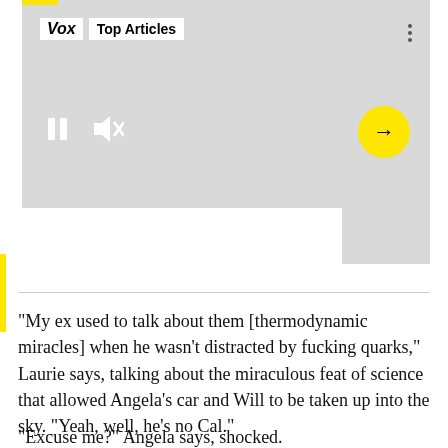[Figure (screenshot): Screenshot of a Vox 'Top Articles' media player widget with a gray background, pause and mute icons on the left, and a yellow circular arrow button on the right. A yellow accent bar is visible on the left side and top.]
“My ex used to talk about them [thermodynamic miracles] when he wasn’t distracted by fucking quarks,” Laurie says, talking about the miraculous feat of science that allowed Angela’s car and Will to be taken up into the sky. “Yeah, well, he’s no Cal.”
“Excuse me?” Angela says, shocked.